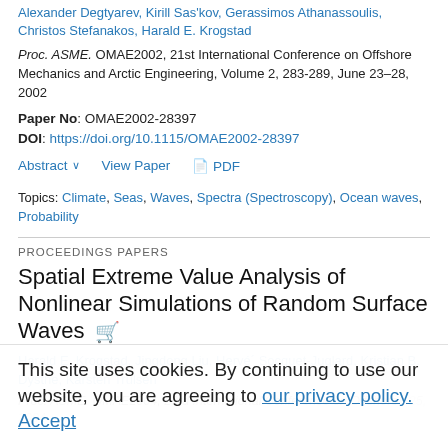Alexander Degtyarev, Kirill Sas'kov, Gerassimos Athanassoulis, Christos Stefanakos, Harald E. Krogstad
Proc. ASME. OMAE2002, 21st International Conference on Offshore Mechanics and Arctic Engineering, Volume 2, 283-289, June 23–28, 2002
Paper No: OMAE2002-28397
DOI: https://doi.org/10.1115/OMAE2002-28397
Abstract ∨   View Paper   📄 PDF
Topics: Climate, Seas, Waves, Spectra (Spectroscopy), Ocean waves, Probability
PROCEEDINGS PAPERS
Spatial Extreme Value Analysis of Nonlinear Simulations of Random Surface Waves
Harald E. Krogstad, Jingdong Liu, Hervé Socquet-Juglard, Kristian B. Dysthe, Karsten Trulsen
Proc. ASME. OMAE2004, 23rd International Conference on Offshore ... June 20–25, 2004
This site uses cookies. By continuing to use our website, you are agreeing to our privacy policy. Accept